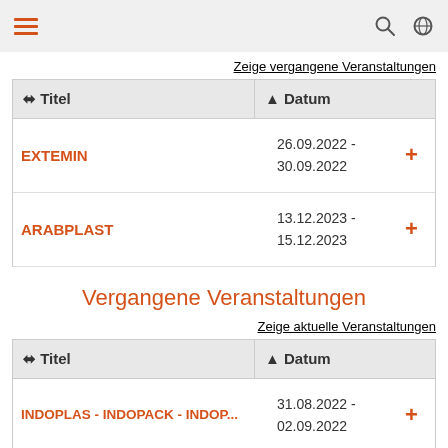Navigation bar with hamburger menu, search and globe icons
Zeige vergangene Veranstaltungen
| ⬧ Titel | ▲ Datum |  |
| --- | --- | --- |
| EXTEMIN | 26.09.2022 - 30.09.2022 | + |
| ARABPLAST | 13.12.2023 - 15.12.2023 | + |
Vergangene Veranstaltungen
Zeige aktuelle Veranstaltungen
| ⬧ Titel | ▲ Datum |  |
| --- | --- | --- |
| INDOPLAS - INDOPACK - INDOP... | 31.08.2022 - 02.09.2022 | + |